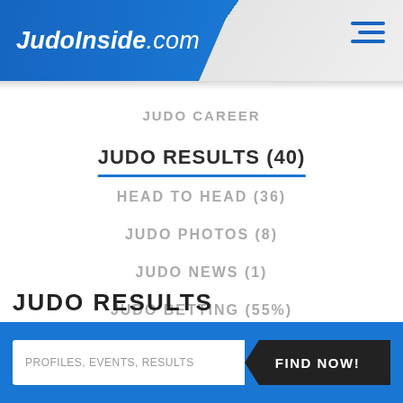JudoInside.com
JUDO CAREER
JUDO RESULTS (40)
HEAD TO HEAD (36)
JUDO PHOTOS (8)
JUDO NEWS (1)
JUDO BETTING (55%)
JUDO RESULTS
PROFILES, EVENTS, RESULTS   FIND NOW!